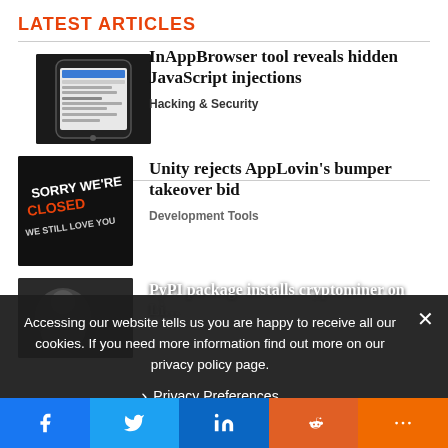LATEST ARTICLES
[Figure (screenshot): Smartphone screenshot showing InAppBrowser tool interface with JavaScript events detected]
InAppBrowser tool reveals hidden JavaScript injections
Hacking & Security
[Figure (photo): Dark sign reading SORRY WE'RE CLOSED WE STILL LOVE YOU]
Unity rejects AppLovin's bumper takeover bid
Development Tools
Accessing our website tells us you are happy to receive all our cookies. If you need more information find out more on our privacy policy page.
Privacy Preferences
[Figure (photo): Dark partially visible thumbnail for third article]
PyPI package installs cryptominer on Li…
Hacking & Sec…
Facebook Twitter LinkedIn Reddit More